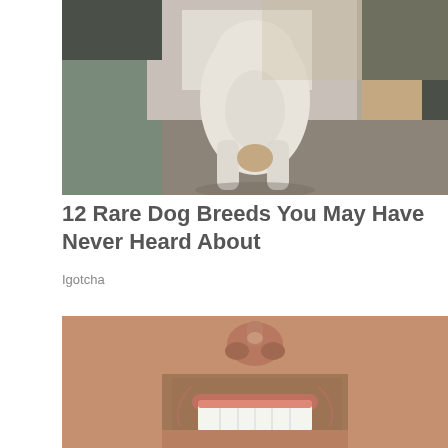[Figure (photo): A white dog being held by a person, view from behind showing dog's rear end and person's lap in jeans, outdoor setting]
12 Rare Dog Breeds You May Have Never Heard About
Igotcha
[Figure (photo): Close-up of a smiling man's face showing nose, stubble beard, and bright white teeth]